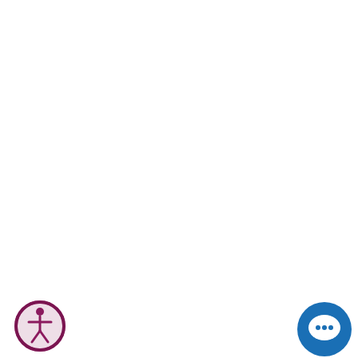If you have an excellent knowledge of the Nashville Real Estate market and need extra business then we can help.
Contact Us
Latest From Our Blog...
6 Things to Know Before Taking Tennessee Real Estate